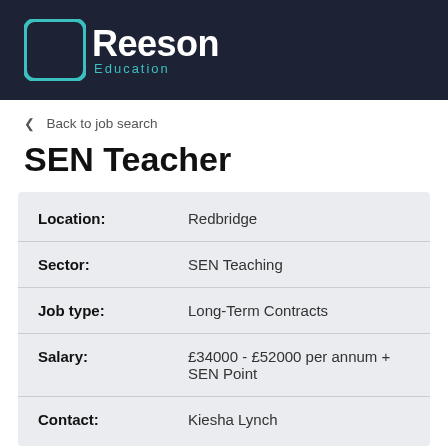[Figure (logo): Reeson Education logo — teal bracket icon with white 'Reeson' text and teal 'Education' subtext on dark navy background]
< Back to job search
SEN Teacher
| Field | Value |
| --- | --- |
| Location: | Redbridge |
| Sector: | SEN Teaching |
| Job type: | Long-Term Contracts |
| Salary: | £34000 - £52000 per annum + SEN Point |
| Contact: | Kiesha Lynch |